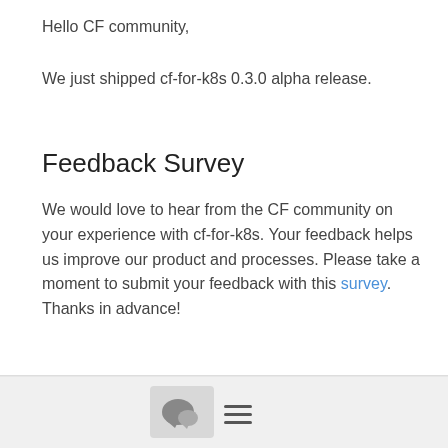Hello CF community,
We just shipped cf-for-k8s 0.3.0 alpha release.
Feedback Survey
We would love to hear from the CF community on your experience with cf-for-k8s. Your feedback helps us improve our product and processes. Please take a moment to submit your feedback with this survey. Thanks in advance!
Notable changes since the last (v0.2.0) release
New features and Bug fixes
[Figure (other): Bottom navigation bar with chat bubble icon button and hamburger menu icon]